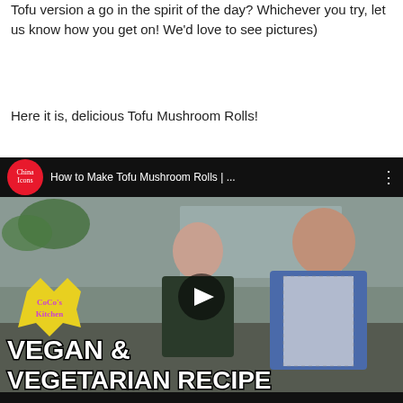Tofu version a go in the spirit of the day? Whichever you try, let us know how you get on! We'd love to see pictures)
Here it is, delicious Tofu Mushroom Rolls!
[Figure (screenshot): YouTube video thumbnail for 'How to Make Tofu Mushroom Rolls' from China Icons / CoCo's Kitchen channel, showing two people cooking in a kitchen with text 'VEGAN & VEGETARIAN RECIPE' and a play button overlay.]